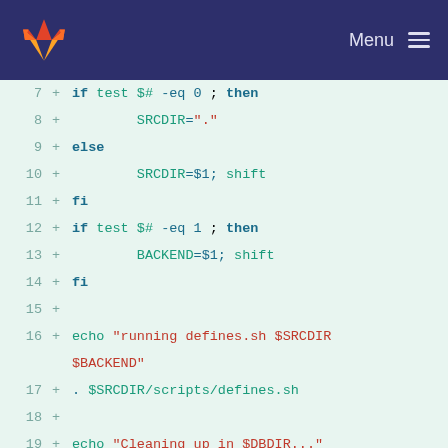GitLab Menu
[Figure (screenshot): GitLab code diff view showing shell script lines 7-24 with syntax highlighting on a light green background. Lines show shell script logic for SRCDIR, BACKEND, echo commands, rm, and ldif2ldbm.]